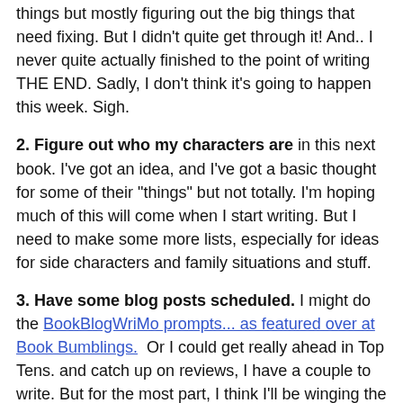things but mostly figuring out the big things that need fixing. But I didn't quite get through it! And.. I never quite actually finished to the point of writing THE END. Sadly, I don't think it's going to happen this week. Sigh.
2. Figure out who my characters are in this next book. I've got an idea, and I've got a basic thought for some of their "things" but not totally. I'm hoping much of this will come when I start writing. But I need to make some more lists, especially for ideas for side characters and family situations and stuff.
3. Have some blog posts scheduled. I might do the BookBlogWriMo prompts... as featured over at Book Bumblings. Or I could get really ahead in Top Tens. and catch up on reviews, I have a couple to write. But for the most part, I think I'll be winging the blog as I go this month. Last year I seemed to keep up okay, but we'll see.
4. Stock up on easy to make food and plan a few crock pot dinners. For the most part, my family doesn't care about dinners anymore, but still, it would make me feel better if I have a few things planned. Besides, I won't be writing very